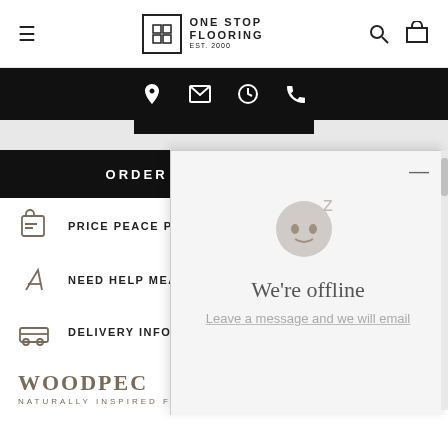One Stop Flooring — navigation header with hamburger menu, logo, search, and bag icons
[Figure (screenshot): Black contact bar with location pin, email, clock, and phone icons in white]
[Figure (screenshot): ORDER A SAMPLE black banner bar]
PRICE PEACE PRO...
NEED HELP MEASU...
DELIVERY INFORM...
[Figure (logo): WOODPEC... NATURALLY INSPIRED F... brand logo in brown/tan]
[Figure (screenshot): Chat widget overlay showing sleeping face emoji with Z, 'We're offline', 'Leave a message and we will email' in gray popup]